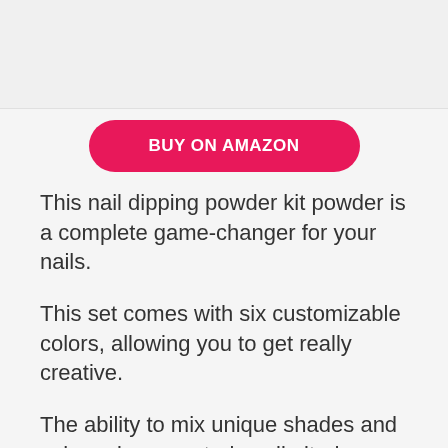[Figure (photo): Nail dipping powder kit product photo showing powder containers and accessories on a dark tray]
BUY ON AMAZON
This nail dipping powder kit powder is a complete game-changer for your nails.
This set comes with six customizable colors, allowing you to get really creative.
The ability to mix unique shades and colors gives you truly unlimited possibilities with your manicure.
This kit is really easy to apply. One drawback is